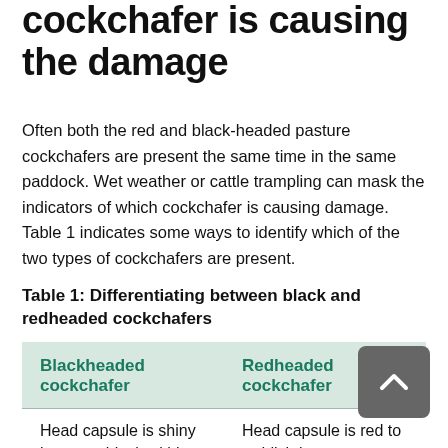cockchafer is causing the damage
Often both the red and black-headed pasture cockchafers are present the same time in the same paddock. Wet weather or cattle trampling can mask the indicators of which cockchafer is causing damage. Table 1 indicates some ways to identify which of the two types of cockchafers are present.
Table 1: Differentiating between black and redheaded cockchafers
| Blackheaded cockchafer | Redheaded cockchafer |
| --- | --- |
| Head capsule is shiny brown to black within | Head capsule is red to reddish brown |